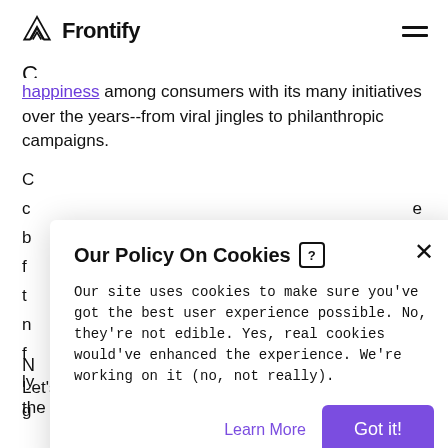Frontify
happiness among consumers with its many initiatives over the years--from viral jingles to philanthropic campaigns.
[Figure (screenshot): Cookie consent modal dialog with title 'Our Policy On Cookies', body text about site cookies, 'Learn More' link and 'Got it!' button]
Let's take a look at some real-life characteristics of the happiest brands.